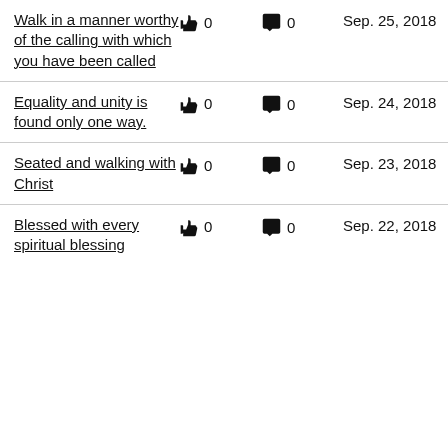Walk in a manner worthy of the calling with which you have been called | 👍 0 | 💬 0 | Sep. 25, 2018
Equality and unity is found only one way. | 👍 0 | 💬 0 | Sep. 24, 2018
Seated and walking with Christ | 👍 0 | 💬 0 | Sep. 23, 2018
Blessed with every spiritual blessing | 👍 0 | 💬 0 | Sep. 22, 2018